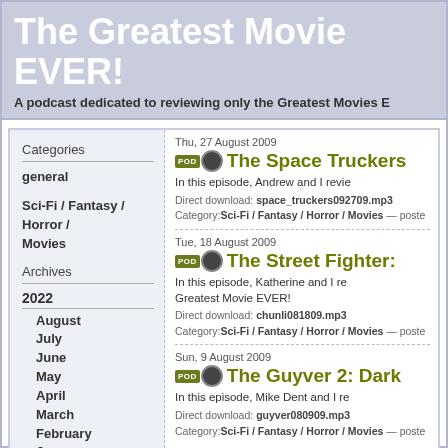The Greatest Movie EVER!
A podcast dedicated to reviewing only the Greatest Movies E
Categories
general
Sci-Fi / Fantasy / Horror / Movies
Archives
2022
August
July
June
May
April
March
February
January
2021
December
Thu, 27 August 2009
The Space Truckers
In this episode, Andrew and I revie
Direct download: space_truckers092709.mp3
Category: Sci-Fi / Fantasy / Horror / Movies — poste
Tue, 18 August 2009
The Street Fighter:
In this episode, Katherine and I re Greatest Movie EVER!
Direct download: chunli081809.mp3
Category: Sci-Fi / Fantasy / Horror / Movies — poste
Sun, 9 August 2009
The Guyver 2: Dark
In this episode, Mike Dent and I re
Direct download: guyver080909.mp3
Category: Sci-Fi / Fantasy / Horror / Movies — poste